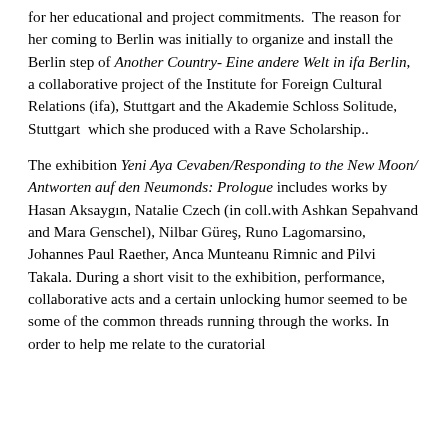for her educational and project commitments. The reason for her coming to Berlin was initially to organize and install the Berlin step of Another Country- Eine andere Welt in ifa Berlin, a collaborative project of the Institute for Foreign Cultural Relations (ifa), Stuttgart and the Akademie Schloss Solitude, Stuttgart  which she produced with a Rave Scholarship..
The exhibition Yeni Aya Cevaben/Responding to the New Moon/ Antworten auf den Neumonds: Prologue includes works by Hasan Aksaygın, Natalie Czech (in coll.with Ashkan Sepahvand and Mara Genschel), Nilbar Güreş, Runo Lagomarsino, Johannes Paul Raether, Anca Munteanu Rimnic and Pilvi Takala. During a short visit to the exhibition, performance, collaborative acts and a certain unlocking humor seemed to be some of the common threads running through the works. In order to help me relate to the curatorial